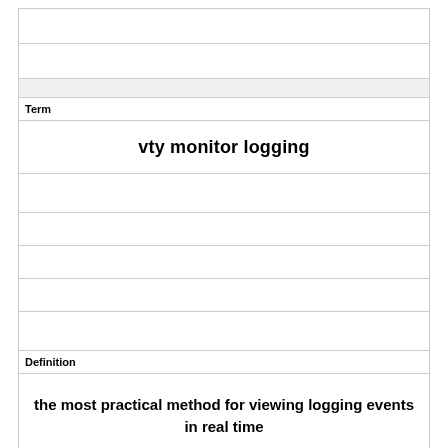|  |
|  |
|  |
| Term |
| vty monitor logging |
|  |
|  |
|  |
|  |
|  |
| Definition |
| the most practical method for viewing logging events in real time |
|  |